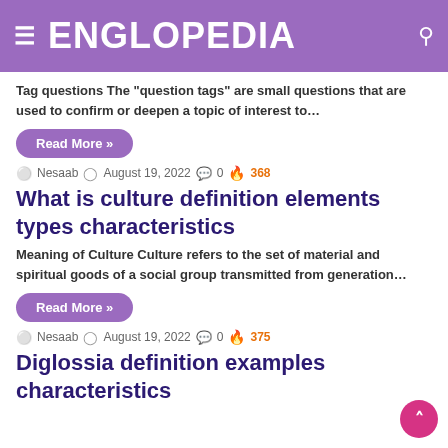ENGLOPEDIA
Tag questions The "question tags" are small questions that are used to confirm or deepen a topic of interest to…
Read More »
Nesaab  August 19, 2022  0  368
What is culture definition elements types characteristics
Meaning of Culture Culture refers to the set of material and spiritual goods of a social group transmitted from generation…
Read More »
Nesaab  August 19, 2022  0  375
Diglossia definition examples characteristics